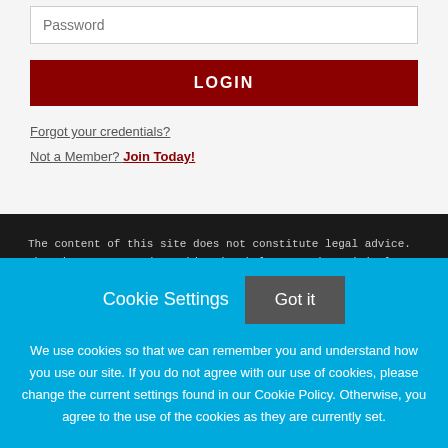[Figure (screenshot): Password input field with placeholder text 'Password']
[Figure (screenshot): LOGIN button in dark red]
Forgot your credentials?
Not a Member? Join Today!
The content of this site does not constitute legal advice. The views expressed on this site belong to the original authors alone and do not necessarily reflect the views of the National
Cookie Settings
Got it
We use cookies so that we can remember you and understand how you use our site. If you do not agree with our use of cookies, please change the current settings found in our Cookie Policy. Otherwise, you agree to the use of the cookies as they are currently set.